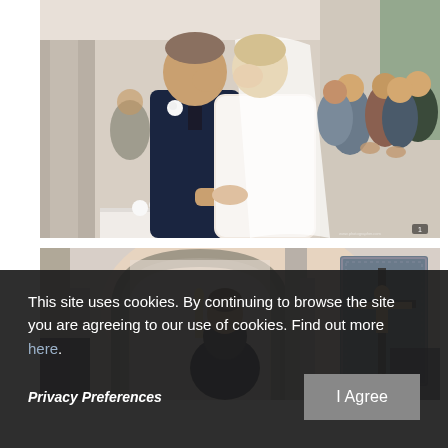[Figure (photo): Wedding ceremony photo: bride and groom kissing at the altar in a church, with wedding guests applauding in the background. Groom in dark navy suit, bride in white lace dress with veil.]
[Figure (photo): Church interior photo: stone archway and columns visible, a crucifix mounted on the right wall, a young boy seen from behind in the foreground, soft ambient light.]
This site uses cookies. By continuing to browse the site you are agreeing to our use of cookies. Find out more here.
Privacy Preferences
I Agree